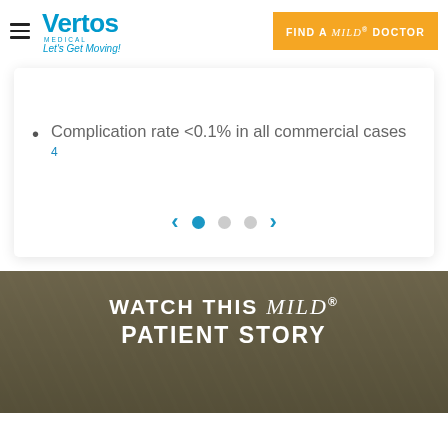Vertos Medical – Let's Get Moving! | FIND A mild® DOCTOR
Complication rate <0.1% in all commercial cases 4
[Figure (other): Carousel navigation with left arrow, one active blue dot, two inactive grey dots, and right arrow]
[Figure (photo): Nature/tree background photo with text overlay]
WATCH THIS mild® PATIENT STORY